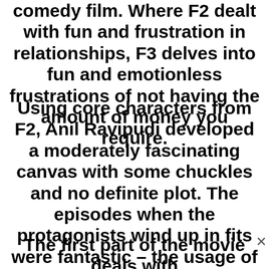comedy film. Where F2 dealt with fun and frustration in relationships, F3 delves into fun and emotionless frustrations of not having the amount of money you require.
Using core characters from F2, Anil Ravipudi developed a moderately fascinating canvas with some chuckles and no definite plot. The episodes when the protagonists wind up in fits were fantastic – the usage of old-timer music in the background is a lovely touch.
The first part of the movie deals with